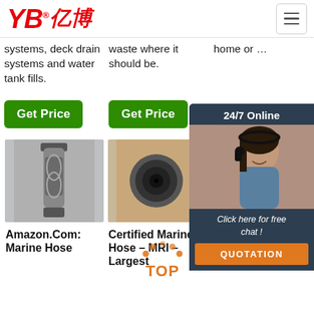YB亿博 logo and navigation
systems, deck drain systems and water tank fills.
waste where it should be.
home or ...
Get Price
Get Price
Get Price
[Figure (photo): Chat widget with customer service representative, '24/7 Online' banner, 'Click here for free chat!' text, and QUOTATION button]
[Figure (photo): Marine hose fitting/connector metal product photo]
[Figure (photo): Hand holding a marine hose showing interior cross-section]
[Figure (other): TOP badge icon in orange]
Amazon.Com: Marine Hose
Certified Marine Hose – MRI – Largest
6 Best Marine Sanitation Hoses